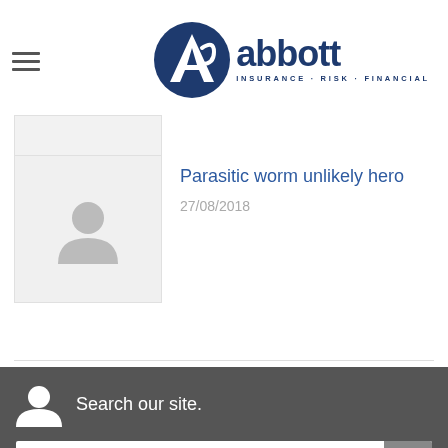abbott INSURANCE · RISK · FINANCIAL
[Figure (photo): Placeholder thumbnail with person silhouette icon (grey)]
Parasitic worm unlikely hero
27/08/2018
Search our site.
Type and hit enter ...